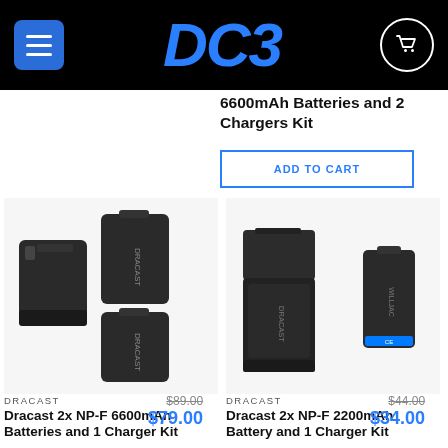[Figure (screenshot): DC3 website header with blue hamburger menu button on left, DC3 blue italic logo in center, cart icon circle on right, all on black background]
6600mAh Batteries and 2 Chargers Kit
ADD TO CART
[Figure (photo): Dracast 2x NP-F 6600mAh batteries and 1 charger kit product photo on white background]
[Figure (photo): Dracast 2x NP-F 2200mAh battery and 1 charger kit product photo on white background]
DRACAST
Dracast 2x NP-F 6600mAh Batteries and 1 Charger Kit
$89.00
$79.00
DRACAST
Dracast 2x NP-F 2200mAh Battery and 1 Charger Kit
$44.00
$34.00